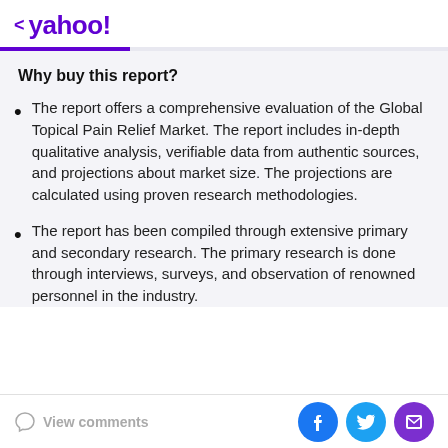< yahoo!
Why buy this report?
The report offers a comprehensive evaluation of the Global Topical Pain Relief Market. The report includes in-depth qualitative analysis, verifiable data from authentic sources, and projections about market size. The projections are calculated using proven research methodologies.
The report has been compiled through extensive primary and secondary research. The primary research is done through interviews, surveys, and observation of renowned personnel in the industry.
View comments